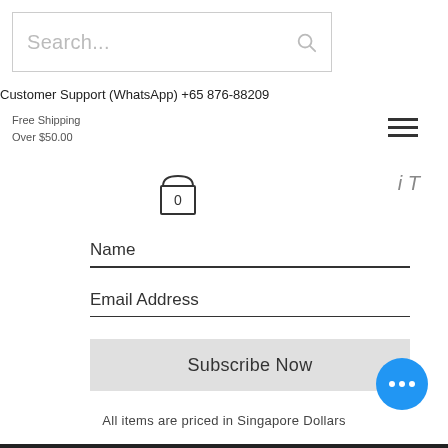[Figure (screenshot): Search input box with placeholder text 'Search...' and a search icon on the right]
Customer Support (WhatsApp) +65 876-88209
Free Shipping
Over $50.00
[Figure (other): Hamburger menu icon with three horizontal lines]
[Figure (other): Shopping cart icon with number 0 inside]
i T
Name
Email Address
Subscribe Now
All items are priced in Singapore Dollars
[Figure (other): Blue circular chat bubble button with three dots]